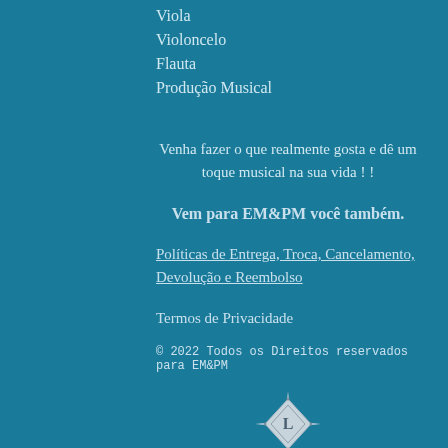Viola
Violoncelo
Flauta
Produção Musical
Venha fazer o que realmente gosta e dê um toque musical na sua vida ! !
Vem para EM&PM você também.
Políticas de Entrega, Troca, Cancelamento, Devolução e Reembolso
Termos de Privacidade
© 2022 Todos os Direitos reservados para EM&PM
[Figure (logo): Diamond-shaped logo with letter L in center and decorative star points]